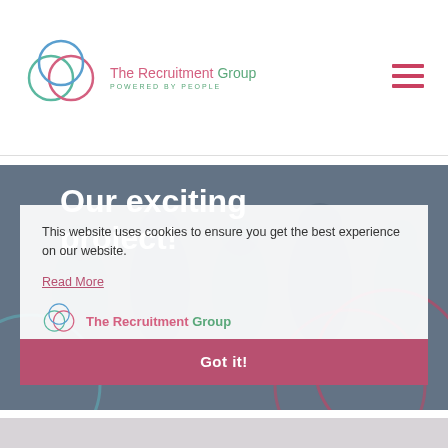[Figure (logo): The Recruitment Group logo with two overlapping circles (teal and pink/red) and text 'The Recruitment Group POWERED BY PEOPLE']
[Figure (other): Hamburger menu icon (three horizontal red lines) in top right corner]
[Figure (photo): Hero background photo of group of people in an office, overlaid with dark tint and decorative overlapping circles]
Our exciting project!
This website uses cookies to ensure you get the best experience on our website.
Read More
[Figure (logo): Small The Recruitment Group logo inside cookie popup]
The Recruitment Group
Got it!